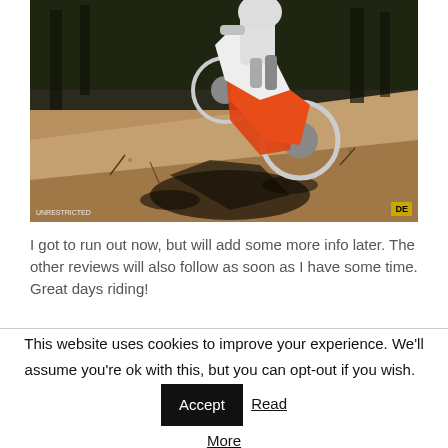[Figure (photo): A motocross rider on a dirt bike airborne over a dusty hillside trail, with forest trees in background. Orange and white dirt bike mid-jump. Shadows visible on ground.]
I got to run out now, but will add some more info later. The other reviews will also follow as soon as I have some time. Great days riding!
This website uses cookies to improve your experience. We'll assume you're ok with this, but you can opt-out if you wish. Accept Read More